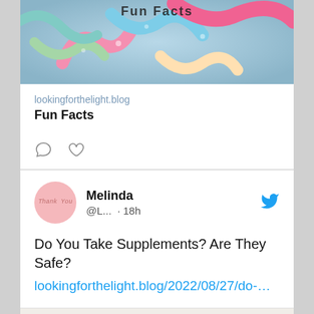[Figure (photo): Colorful sour gummy candy worms in pink, blue, green, and yellow, close-up photo]
lookingforthelight.blog
Fun Facts
[Figure (infographic): Comment bubble icon and heart icon in the social media card action row]
[Figure (photo): Twitter profile avatar: pink circle with cursive text 'Thank You']
Melinda @L... · 18h
Do You Take Supplements? Are They Safe? lookingforthelight.blog/2022/08/27/do-…
[Figure (photo): Supplements and herbal leaves on a white surface, with pills and green ginkgo leaf]